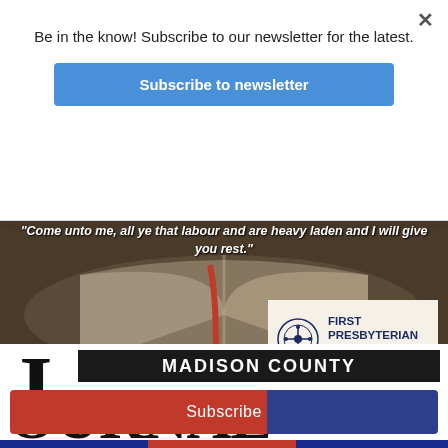Be in the know! Subscribe to our newsletter for the latest.
Subscribe to newsletter
[Figure (photo): Open Bible with red ribbon bookmark, dark background, with bold italic white text overlay: 'Come unto me, all ye that labour and are heavy laden and I will give you rest.' First Presbyterian Church Jackson, Mississippi logo overlay in bottom right.]
Subscribe
MADISON COUNTY JOURNAL